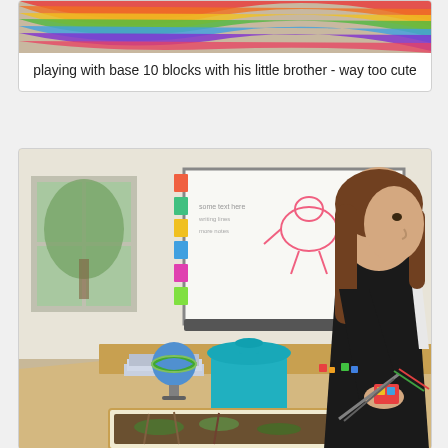[Figure (photo): Partial view of a colorful rainbow-patterned textile or rug, cropped at the top of the card]
playing with base 10 blocks with his little brother - way too cute
[Figure (photo): A girl in a black sweatshirt sits at a desk in what appears to be a homeschool room. There is a whiteboard with drawings/writing behind her, a teal trash can, a globe, and a shallow tray with moss/dirt and sticks on the desk. She appears to be working with small colorful objects.]